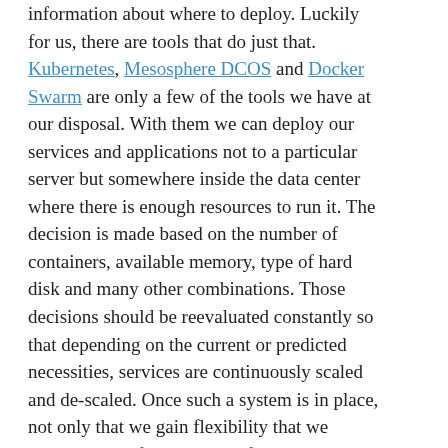information about where to deploy. Luckily for us, there are tools that do just that. Kubernetes, Mesosphere DCOS and Docker Swarm are only a few of the tools we have at our disposal. With them we can deploy our services and applications not to a particular server but somewhere inside the data center where there is enough resources to run it. The decision is made based on the number of containers, available memory, type of hard disk and many other combinations. Those decisions should be reevaluated constantly so that depending on the current or predicted necessities, services are continuously scaled and de-scaled. Once such a system is in place, not only that we gain flexibility that we haven't had before but our infrastructure costs can drop drastically.
One of the elements missing in order to get there are health checks and self-healing systems.
Self-Healing Systems